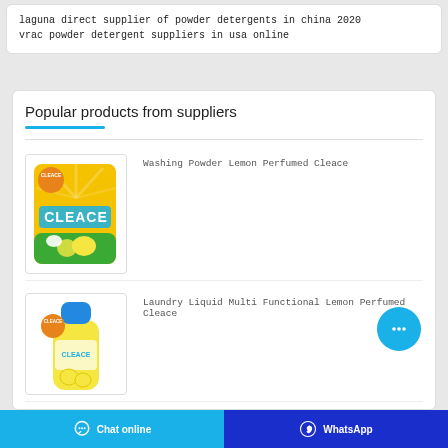laguna direct supplier of powder detergents in china 2020
vrac powder detergent suppliers in usa online
Popular products from suppliers
Washing Powder Lemon Perfumed Cleace
[Figure (photo): Product image of Cleace Washing Powder Lemon Perfumed in yellow packaging]
Laundry Liquid Multi Functional Lemon Perfumed Cleace
[Figure (photo): Product image of Cleace Laundry Liquid Multi Functional Lemon Perfumed in yellow bottle]
Chat online   WhatsApp